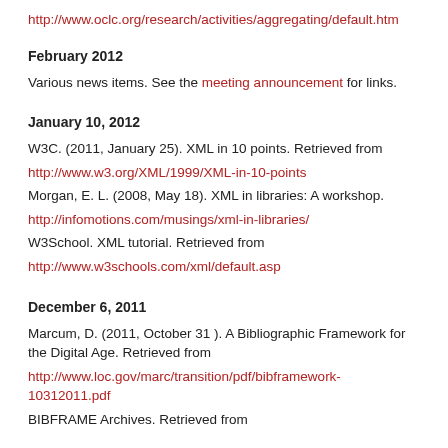http://www.oclc.org/research/activities/aggregating/default.htm
February 2012
Various news items. See the meeting announcement for links.
January 10, 2012
W3C. (2011, January 25). XML in 10 points. Retrieved from
http://www.w3.org/XML/1999/XML-in-10-points
Morgan, E. L. (2008, May 18). XML in libraries: A workshop.
http://infomotions.com/musings/xml-in-libraries/
W3School. XML tutorial. Retrieved from
http://www.w3schools.com/xml/default.asp
December 6, 2011
Marcum, D. (2011, October 31 ). A Bibliographic Framework for the Digital Age. Retrieved from
http://www.loc.gov/marc/transition/pdf/bibframework-10312011.pdf
BIBFRAME Archives. Retrieved from